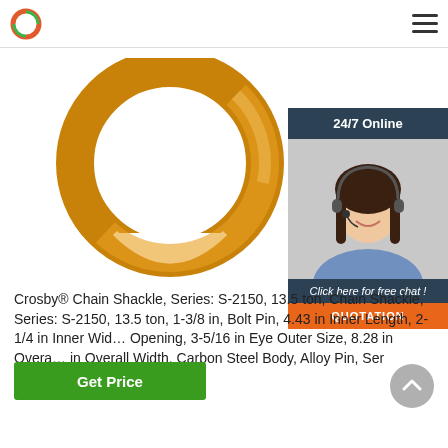[Figure (photo): Crosby chain shackle product photo showing a golden/yellow coated round ring shackle viewed from above against a white background]
[Figure (photo): 24/7 Online chat panel with a photo of a female customer service representative wearing a headset, with text 'Click here for free chat!' and an orange QUOTATION button]
Crosby® Chain Shackle, Series: S-2150, 13.5 ton, Chain Shackle, Series: S-2150, 13.5 ton, 1-3/8 in, Bolt Pin, 4.43 in Inner Length, 2-1/4 in Inner Width Opening, 3-5/16 in Eye Outer Size, 8.28 in Overall in Overall Width, Carbon Steel Body, Alloy Pin, Ser
[Figure (other): Green 'Get Price' button]
[Figure (other): Gray circular scroll-to-top button with upward chevron arrow]